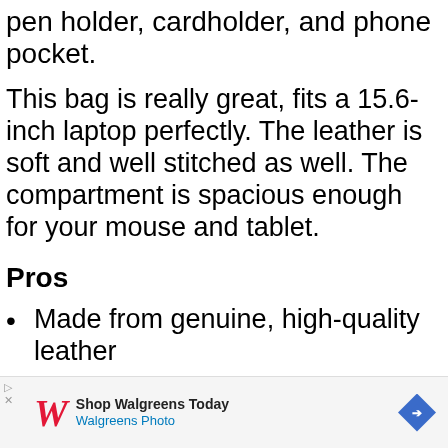pen holder, cardholder, and phone pocket.
This bag is really great, fits a 15.6-inch laptop perfectly. The leather is soft and well stitched as well. The compartment is spacious enough for your mouse and tablet.
Pros
Made from genuine, high-quality leather
It has a top handle that makes it easy to lift
[Figure (other): Advertisement banner for Walgreens Photo. Contains Walgreens logo (stylized W), text 'Shop Walgreens Today' and 'Walgreens Photo', a play/arrow icon on the left, and a blue diamond-shaped arrow icon on the right.]